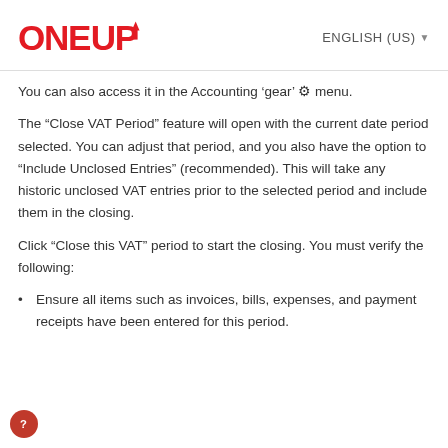ONE UP — ENGLISH (US)
You can also access it in the Accounting ‘gear’ ⚙ menu.
The “Close VAT Period” feature will open with the current date period selected. You can adjust that period, and you also have the option to “Include Unclosed Entries” (recommended). This will take any historic unclosed VAT entries prior to the selected period and include them in the closing.
Click “Close this VAT” period to start the closing. You must verify the following:
• Ensure all items such as invoices, bills, expenses, and payment receipts have been entered for this period.